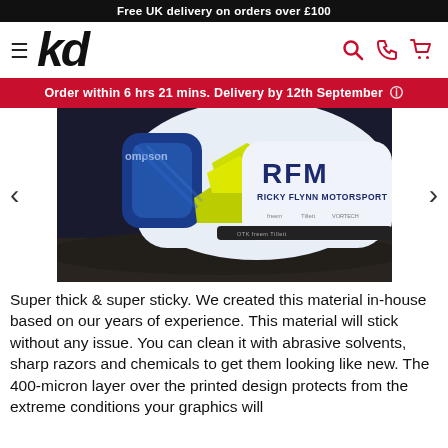Free UK delivery on orders over £100
[Figure (logo): KD logo navigation bar with hamburger menu, kd italic logo, and search/phone/cart icons in red]
Order within 6 hrs 21 mins. Delivery by 12th September
[Figure (photo): Close-up photo of a motorsport kart bodywork/fairing showing RFM (Ricky Flynn Motorsport) branding with sponsors: freem, Tillett, and other logos. Blue, white, and neon yellow color scheme.]
Super thick & super sticky. We created this material in-house based on our years of experience. This material will stick without any issue. You can clean it with abrasive solvents, sharp razors and chemicals to get them looking like new. The 400-micron layer over the printed design protects from the extreme conditions your graphics will